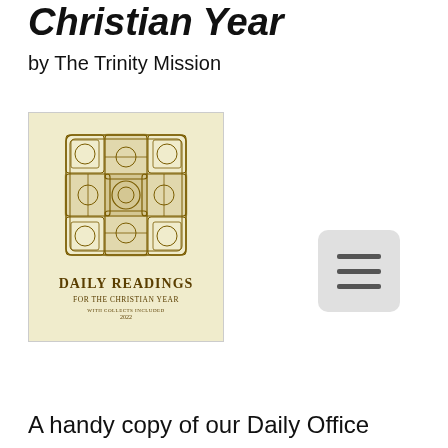Christian Year
by The Trinity Mission
[Figure (illustration): Book cover for 'Daily Readings For the Christian Year' with Celtic cross ornament on cream/beige background. Subtitle: 'With Collects Included 2022'.]
[Figure (other): Hamburger menu icon button (three horizontal lines) on a light grey rounded rectangle background.]
A handy copy of our Daily Office